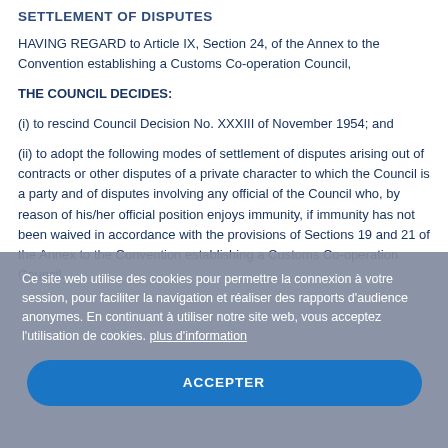SETTLEMENT OF DISPUTES
HAVING REGARD to Article IX, Section 24, of the Annex to the Convention establishing a Customs Co-operation Council,
THE COUNCIL DECIDES:
(i) to rescind Council Decision No. XXXIII of November 1954; and
(ii) to adopt the following modes of settlement of disputes arising out of contracts or other disputes of a private character to which the Council is a party and of disputes involving any official of the Council who, by reason of his/her official position enjoys immunity, if immunity has not been waived in accordance with the provisions of Sections 19 and 21 of the Annex to the Convention establishing a Customs Co-operation Council.
Ce site web utilise des cookies pour permettre la connexion à votre session, pour faciliter la navigation et réaliser des rapports d'audience anonymes. En continuant à utiliser notre site web, vous acceptez l'utilisation de cookies. plus d'information
ACCEPTER